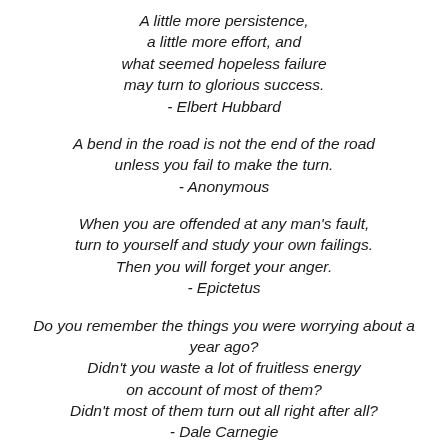A little more persistence, a little more effort, and what seemed hopeless failure may turn to glorious success. - Elbert Hubbard
A bend in the road is not the end of the road unless you fail to make the turn. - Anonymous
When you are offended at any man's fault, turn to yourself and study your own failings. Then you will forget your anger. - Epictetus
Do you remember the things you were worrying about a year ago? Didn't you waste a lot of fruitless energy on account of most of them? Didn't most of them turn out all right after all? - Dale Carnegie
Too often we underestimate the power of a touch, a smile, a kind word, a listening ear, an honest compliment, or the smallest act of caring.